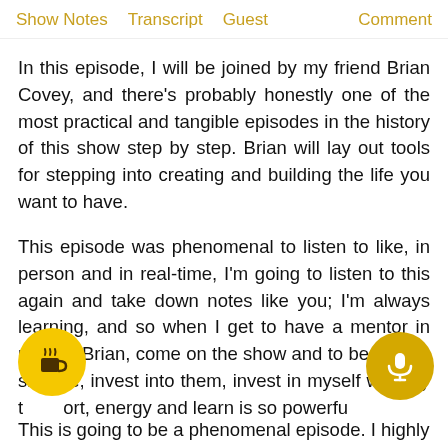Show Notes   Transcript   Guest   Comment
In this episode, I will be joined by my friend Brian Covey, and there's probably honestly one of the most practical and tangible episodes in the history of this show step by step. Brian will lay out tools for stepping into creating and building the life you want to have.
This episode was phenomenal to listen to like, in person and in real-time, I'm going to listen to this again and take down notes like you; I'm always learning, and so when I get to have a mentor in my life, Brian, come on the show and to be able to sit here, invest into them, invest in myself with my time, effort, energy and learn is so powerful.
This is going to be a phenomenal episode. I highly